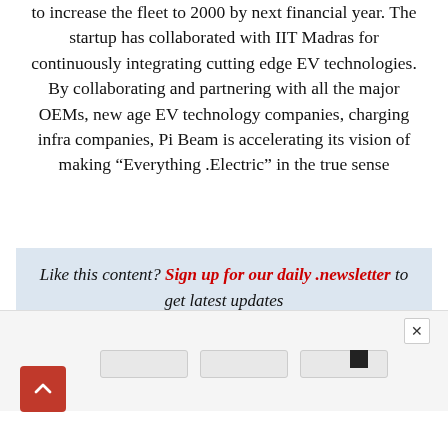to increase the fleet to 2000 by next financial year. The startup has collaborated with IIT Madras for continuously integrating cutting edge EV technologies. By collaborating and partnering with all the major OEMs, new age EV technology companies, charging infra companies, Pi Beam is accelerating its vision of making “Everything .Electric” in the true sense
Like this content? Sign up for our daily .newsletter to get latest updates